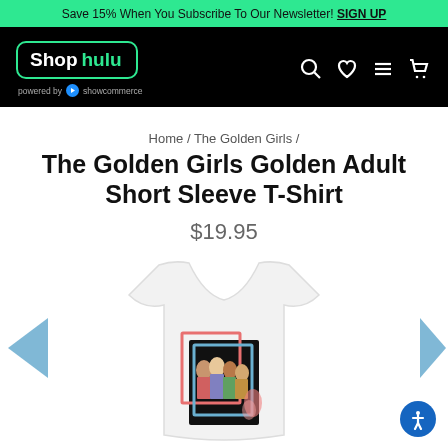Save 15% When You Subscribe To Our Newsletter! SIGN UP
[Figure (logo): Shop Hulu logo in black header with search, wishlist, menu, and cart icons]
Home / The Golden Girls /
The Golden Girls Golden Adult Short Sleeve T-Shirt
$19.95
[Figure (photo): White t-shirt with Golden Girls graphic print, shown with left and right navigation arrows]